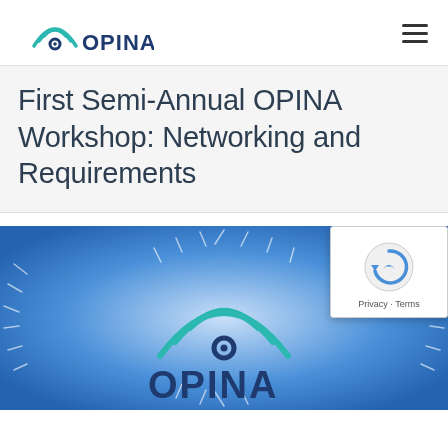[Figure (logo): OPINA logo with teal wifi-like arc above a circular eye icon, and text OPINA in dark blue]
First Semi-Annual OPINA Workshop: Networking and Requirements
[Figure (illustration): Blue gradient banner with OPINA logo centered, surrounded by radiating tick marks in a circular pattern on a blue-to-white gradient background. A reCAPTCHA verification widget overlays the top-right corner.]